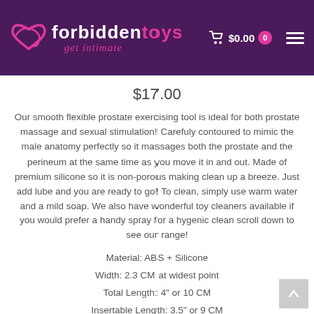ForbiddenToys — get intimate | $0.00 | Cart
$17.00
Our smooth flexible prostate exercising tool is ideal for both prostate massage and sexual stimulation! Carefuly contoured to mimic the male anatomy perfectly so it massages both the prostate and the perineum at the same time as you move it in and out. Made of premium silicone so it is non-porous making clean up a breeze. Just add lube and you are ready to go! To clean, simply use warm water and a mild soap. We also have wonderful toy cleaners available if you would prefer a handy spray for a hygenic clean scroll down to see our range!
Material: ABS + Silicone
Width: 2.3 CM at widest point
Total Length: 4" or 10 CM
Insertable Length: 3.5" or 9 CM